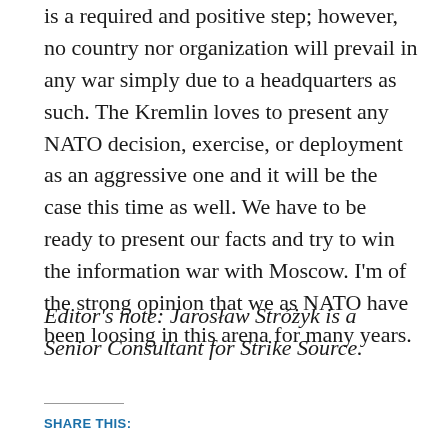is a required and positive step; however, no country nor organization will prevail in any war simply due to a headquarters as such. The Kremlin loves to present any NATO decision, exercise, or deployment as an aggressive one and it will be the case this time as well. We have to be ready to present our facts and try to win the information war with Moscow. I'm of the strong opinion that we as NATO have been loosing in this arena for many years.
Editor's note: Jarosław Stróżyk is a Senior Consultant for Strike Source.
SHARE THIS: